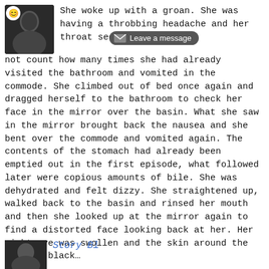[Figure (photo): Avatar photo showing a person from the back, with an emoji smiley face icon overlay in the top left corner.]
She woke up with a groan. She was having a throbbing headache and her throat seemed to b[Leave a message] not count how many times she had already visited the bathroom and vomited in the commode. She climbed out of bed once again and dragged herself to the bathroom to check her face in the mirror over the basin. What she saw in the mirror brought back the nausea and she bent over the commode and vomited again. The contents of the stomach had already been emptied out in the first episode, what followed later were copious amounts of bile. She was dehydrated and felt dizzy. She straightened up, walked back to the basin and rinsed her mouth and then she looked up at the mirror again to find a distorted face looking back at her. Her right eye was swollen and the skin around the eye was black...
[Figure (photo): Small thumbnail photo at the bottom left, showing a partial face.]
Story Bl